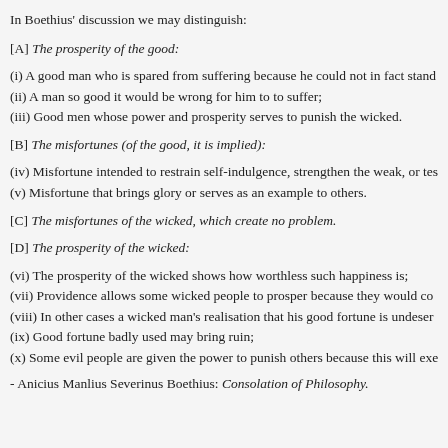In Boethius' discussion we may distinguish:
[A] The prosperity of the good:
(i) A good man who is spared from suffering because he could not in fact stand
(ii) A man so good it would be wrong for him to to suffer;
(iii) Good men whose power and prosperity serves to punish the wicked.
[B] The misfortunes (of the good, it is implied):
(iv) Misfortune intended to restrain self-indulgence, strengthen the weak, or tes
(v) Misfortune that brings glory or serves as an example to others.
[C] The misfortunes of the wicked, which create no problem.
[D] The prosperity of the wicked:
(vi) The prosperity of the wicked shows how worthless such happiness is;
(vii) Providence allows some wicked people to prosper because they would co
(viii) In other cases a wicked man's realisation that his good fortune is undeser
(ix) Good fortune badly used may bring ruin;
(x) Some evil people are given the power to punish others because this will exe
- Anicius Manlius Severinus Boethius: Consolation of Philosophy.